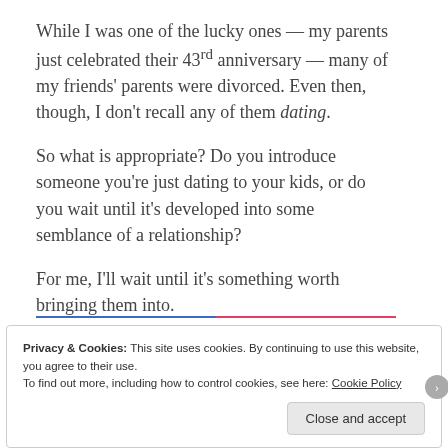While I was one of the lucky ones — my parents just celebrated their 43rd anniversary — many of my friends' parents were divorced. Even then, though, I don't recall any of them dating.
So what is appropriate? Do you introduce someone you're just dating to your kids, or do you wait until it's developed into some semblance of a relationship?
For me, I'll wait until it's something worth bringing them into.
Privacy & Cookies: This site uses cookies. By continuing to use this website, you agree to their use.
To find out more, including how to control cookies, see here: Cookie Policy